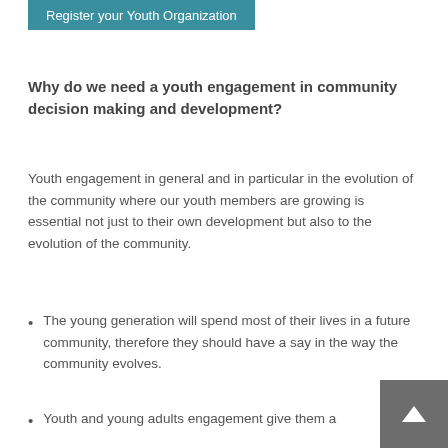Register your Youth Organization
Why do we need a youth engagement in community decision making and development?
Youth engagement in general and in particular in the evolution of the community where our youth members are growing is essential not just to their own development but also to the evolution of the community.
The young generation will spend most of their lives in a future community, therefore they should have a say in the way the community evolves.
Youth and young adults engagement give them a